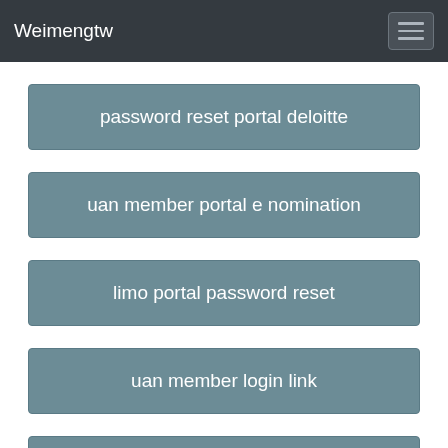Weimengtw
password reset portal deloitte
uan member portal e nomination
limo portal password reset
uan member login link
itr login password reset